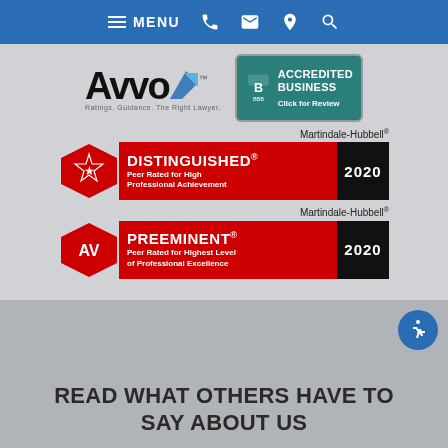MENU (navigation bar with phone, email, location, search icons)
[Figure (logo): Avvo logo - Ratings. Guidance. The Right Lawyer.]
[Figure (logo): BBB Accredited Business badge with teal background and Click for Review text]
[Figure (logo): Martindale-Hubbell Distinguished - Peer Rated for High Professional Achievement 2020]
[Figure (logo): Martindale-Hubbell AV Preeminent - Peer Rated for Highest Level of Professional Excellence 2020]
READ WHAT OTHERS HAVE TO SAY ABOUT US